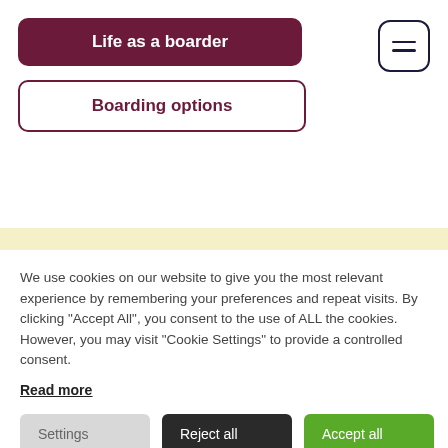Life as a boarder
Boarding options
We use cookies on our website to give you the most relevant experience by remembering your preferences and repeat visits. By clicking “Accept All”, you consent to the use of ALL the cookies. However, you may visit “Cookie Settings” to provide a controlled consent.
Read more
Settings
Reject all
Accept all